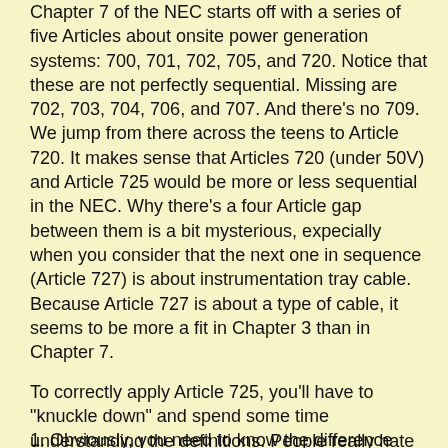Chapter 7 of the NEC starts off with a series of five Articles about onsite power generation systems: 700, 701, 702, 705, and 720. Notice that these are not perfectly sequential. Missing are 702, 703, 704, 706, and 707. And there's no 709. We jump from there across the teens to Article 720. It makes sense that Articles 720 (under 50V) and Article 725 would be more or less sequential in the NEC. Why there's a four Article gap between them is a bit mysterious, expecially when you consider that the next one in sequence (Article 727) is about instrumentation tray cable. Because Article 727 is about a type of cable, it seems to be more a fit in Chapter 3 than in Chapter 7.
.
To correctly apply Article 725, you'll have to "knuckle down" and spend some time understanding the definitions. People really hate to read these, but skipping over them in this Article is a huge mistake.
1. Obviously, you need to know the difference between